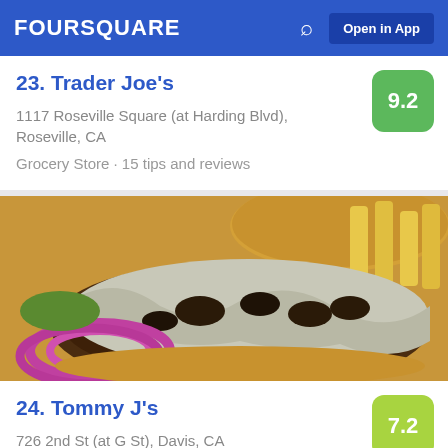FOURSQUARE  Open in App
23. Trader Joe's
1117 Roseville Square (at Harding Blvd), Roseville, CA
Grocery Store · 15 tips and reviews
[Figure (photo): Close-up photo of a burger with melted cheese, mushrooms, and red onion rings on the side, served with french fries]
24. Tommy J's
726 2nd St (at G St), Davis, CA
Burger Joint · Downtown Davis · 10 tips and reviews